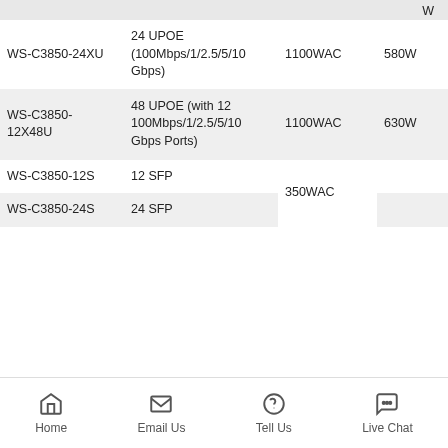| Model | Ports | PSU | PoE Budget | Max PoE |
| --- | --- | --- | --- | --- |
| WS-C3850-24XU | 24 UPOE (100Mbps/1/2.5/5/10 Gbps) | 1100WAC | 580W | 180W |
| WS-C3850-12X48U | 48 UPOE (with 12 100Mbps/1/2.5/5/10 Gbps Ports) | 1100WAC | 630W | 1730W |
| WS-C3850-12S | 12 SFP | 350WAC |  |  |
| WS-C3850-24S | 24 SFP | 350WAC |  |  |
Home  Email Us  Tell Us  Live Chat